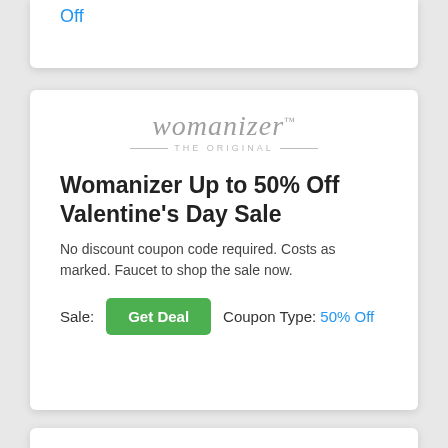Off
[Figure (logo): Womanizer THE ORIGINAL logo in script font with decorative lines]
Womanizer Up to 50% Off Valentine's Day Sale
No discount coupon code required. Costs as marked. Faucet to shop the sale now.
Sale: [Get Deal] Coupon Type: 50% Off
[Figure (logo): Womanizer logo in script font (partial, bottom card)]